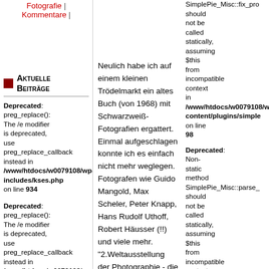Fotografie | Kommentare |
Aktuelle Beiträge
Deprecated: preg_replace(): The /e modifier is deprecated, use preg_replace_callback instead in /www/htdocs/w0079108/wp-includes/kses.php on line 934
Deprecated: preg_replace(): The /e modifier is deprecated, use preg_replace_callback instead in /www/htdocs/w0079108/wp-includes/kses.php on line 935
Wasser Wander Weg
Neulich habe ich auf einem kleinen Trödelmarkt ein altes Buch (von 1968) mit Schwarzweiß-Fotografien ergattert. Einmal aufgeschlagen konnte ich es einfach nicht mehr weglegen. Fotografen wie Guido Mangold, Max Scheler, Peter Knapp, Hans Rudolf Uthoff, Robert Häusser (!!) und viele mehr. "2.Weltausstellung der Photographie - die Frau" heißt es und ich habe es für zwei Euro gekauft, die auch noch (wie alle Einnahmen vom Trödelmarkt) nach Afrika gespendet werden. Gefällt mir!
SimplePie_Misc::fix_pro should not be called statically, assuming $this from incompatible context in /www/htdocs/w0079108/wp-content/plugins/simple on line 98
Deprecated: Non-static method SimplePie_Misc::parse_ should not be called statically, assuming $this from incompatible context